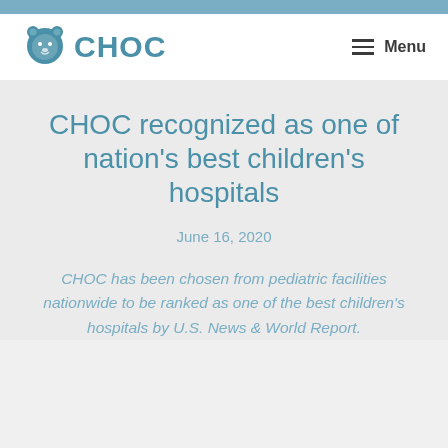[Figure (logo): CHOC hospital logo with bear icon and text 'CHOC' in blue]
CHOC recognized as one of nation's best children's hospitals
June 16, 2020
CHOC has been chosen from pediatric facilities nationwide to be ranked as one of the best children's hospitals by U.S. News & World Report.